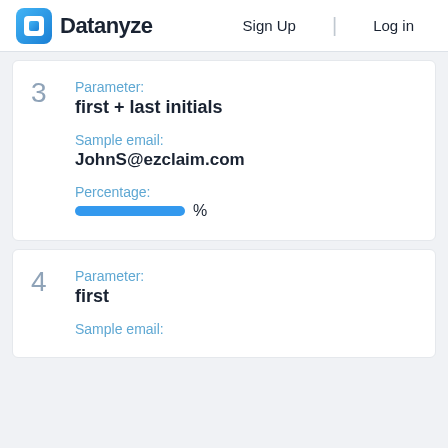Datanyze | Sign Up | Log in
3 Parameter: first + last initials | Sample email: JohnS@ezclaim.com | Percentage: %
4 Parameter: first | Sample email: